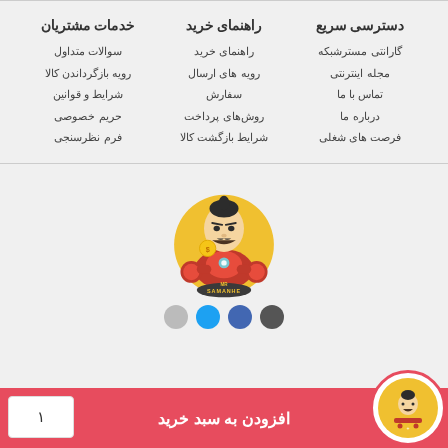خدمات مشتریان
راهنمای خرید
دسترسی سریع
سوالات متداول
رویه بازگرداندن کالا
شرایط و قوانین
حریم خصوصی
فرم نظرسنجی
راهنمای خرید
رویه های ارسال
سفارش
روش‌های پرداخت
شرایط بازگشت کالا
گارانتی مسترشبکه
مجله اینترنتی
تماس با ما
درباره ما
فرصت های شغلی
[Figure (illustration): Cartoon superhero mascot (Mr. Samanhe) in red and gold armor with fists raised, inside a gold circular badge with text MR SAMANHE at the bottom]
افزودن به سبد خرید